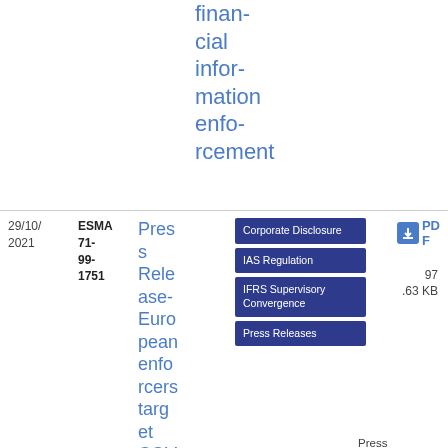financial information enforcement
29/10/2021
ESMA 71-99-1751
Press Release-European enforcers target COVID-19
Corporate Disclosure
Press Release
IAS Regulation
IFRS Supervisory Convergence
Press Releases
PDF
97.63 KB